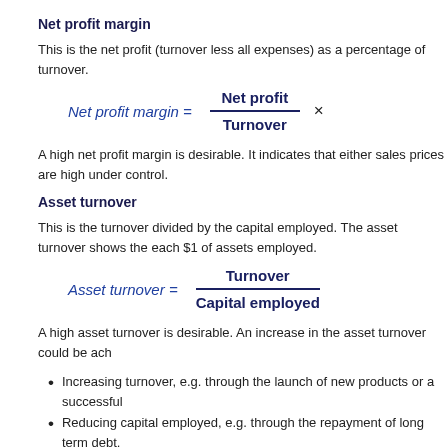Net profit margin
This is the net profit (turnover less all expenses) as a percentage of turnover.
A high net profit margin is desirable. It indicates that either sales prices are high under control.
Asset turnover
This is the turnover divided by the capital employed. The asset turnover shows the each $1 of assets employed.
A high asset turnover is desirable. An increase in the asset turnover could be ach
Increasing turnover, e.g. through the launch of new products or a successful
Reducing capital employed, e.g. through the repayment of long term debt.